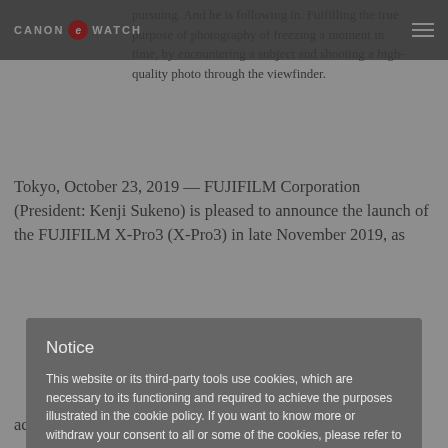CANON e WATCH
pursuing. And he is following in. Fulfilling the true purpose of photography of freezing a moment in time, by encountering a subject and shooting a high-quality photo through the viewfinder.
Tokyo, October 23, 2019 — FUJIFILM Corporation (President: Kenji Sukeno) is pleased to announce the launch of the FUJIFILM X-Pro3 (X-Pro3) in late November 2019, as
Notice
This website or its third-party tools use cookies, which are necessary to its functioning and required to achieve the purposes illustrated in the cookie policy. If you want to know more or withdraw your consent to all or some of the cookies, please refer to the cookie policy.
By closing this banner you agree to the use of cookies.
keep disabled
ENABLE
achieving highly refined exterior appearance, thereby